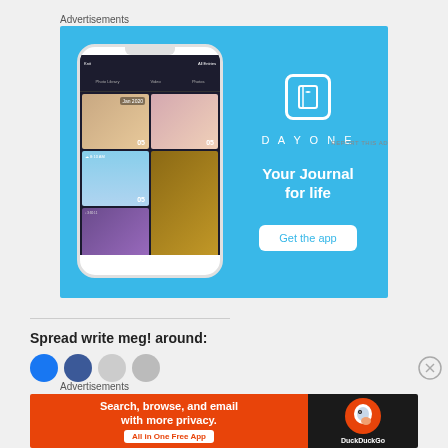Advertisements
[Figure (screenshot): DayOne journal app advertisement showing phone mockup with photo grid on a blue background, with DayOne logo, tagline 'Your Journal for life', and 'Get the app' button]
REPORT THIS AD
Spread write meg! around:
[Figure (other): Social share icons: blue Twitter, blue Facebook, and two gray circles]
Advertisements
[Figure (screenshot): DuckDuckGo advertisement: orange background with text 'Search, browse, and email with more privacy.' and 'All in One Free App', DuckDuckGo logo on dark background]